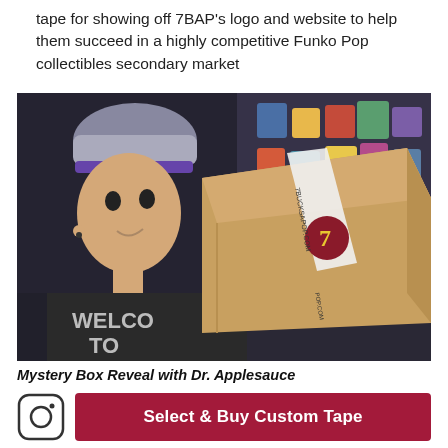tape for showing off 7BAP's logo and website to help them succeed in a highly competitive Funko Pop collectibles secondary market
[Figure (photo): A young man wearing a backwards cap with a purple headband and a dark t-shirt reading 'WELCOME TO' holds up a cardboard box sealed with branded tape showing '7BUCKSAPOP.COM' branding and a logo with the number 7. Behind him is a wall of Funko Pop collectibles.]
Mystery Box Reveal with Dr. Applesauce
[Figure (logo): Instagram camera icon in a rounded square outline]
Select & Buy Custom Tape